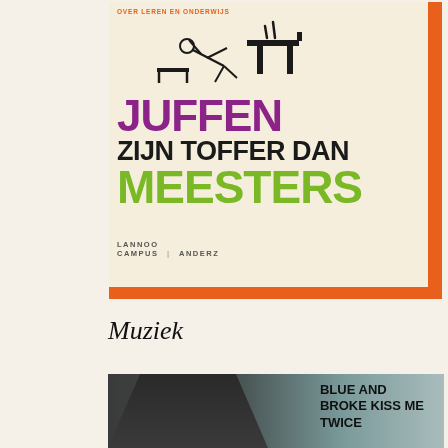[Figure (illustration): Book cover for 'Juffen zijn toffer dan meesters' published by Lannoo Campus / Anderz. Cream background with orange border accents. Shows stick figure illustration of a teacher/student with a desk. Title in purple 'JUFFEN', black 'ZIJN TOFFER DAN', and green 'MEESTERS'. Subtitle in orange 'OVER LEREN EN ONDERWIJS'. Publisher logos at bottom.]
Muziek
[Figure (photo): Music album cover showing a person in a dark grey t-shirt from the torso, with a misty landscape in the background. Text overlay reads 'BLUE AND BROKE KISS ME TWICE' in bold black letters on the right side.]